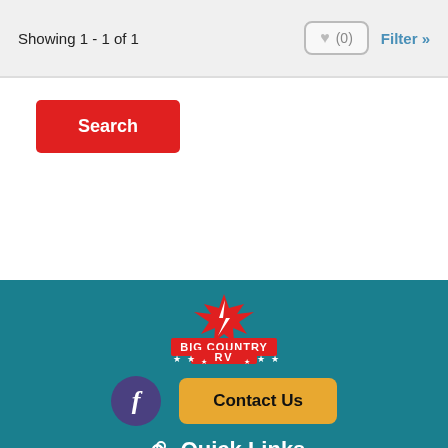Showing 1 - 1 of 1
(0)
Filter »
Search
[Figure (logo): Big Country RV logo with red maple leaf and stars]
Contact Us
Quick Links